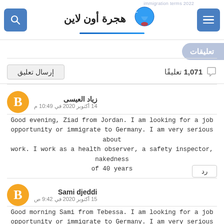immigration terms 2022 - هجرة أون لاين
تعليقات
1,071 تعليقًا - إرسال تعليق
زياد العيسى
14 أكتوبر 2020 في 10:49 م
Good evening, Ziad from Jordan. I am looking for a job opportunity or immigrate to Germany. I am very serious about work. I work as a health observer, a safety inspector, nakedness of 40 years
رد
Sami djeddi
15 أكتوبر 2020 في 9:42 ص
Good morning Sami from Tebessa. I am looking for a job opportunity or immigrate to Germany. I am very serious for work, I am 26 years old